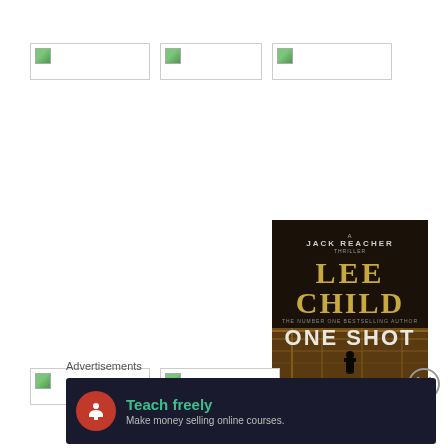[Figure (other): Three placeholder image boxes in a row at the top]
[Figure (illustration): Book cover: A Jack Reacher Thriller by Lee Child - ONE SHOT. Dark cover with silhouette of person under industrial structure.]
[Figure (other): Two placeholder image boxes in a row at the bottom left]
[Figure (other): Close/dismiss circle button with X]
Advertisements
[Figure (other): Advertisement banner: Teach freely - Make money selling online courses. Dark background with red circular icon showing person.]